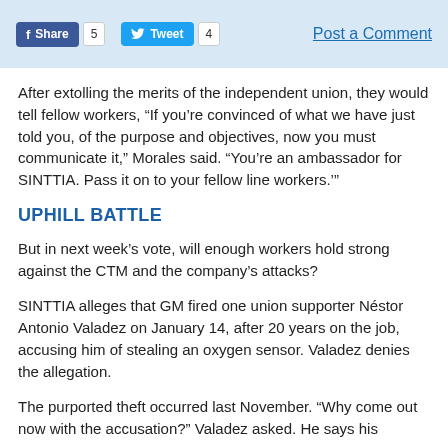Share 5  Tweet 4  Post a Comment
After extolling the merits of the independent union, they would tell fellow workers, “If you’re convinced of what we have just told you, of the purpose and objectives, now you must communicate it,” Morales said. “You’re an ambassador for SINTTIA. Pass it on to your fellow line workers.’”
UPHILL BATTLE
But in next week’s vote, will enough workers hold strong against the CTM and the company’s attacks?
SINTTIA alleges that GM fired one union supporter Néstor Antonio Valadez on January 14, after 20 years on the job, accusing him of stealing an oxygen sensor. Valadez denies the allegation.
The purported theft occurred last November. “Why come out now with the accusation?” Valadez asked. He says his